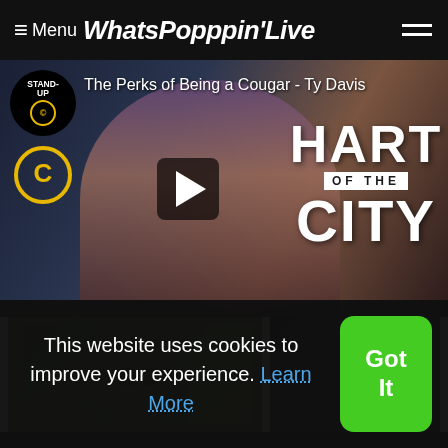≡ Menu WhatsPopppin'Live
[Figure (screenshot): Video thumbnail for 'The Perks of Being a Cougar - Ty Davis' on Comedy Central's Hart of the City stand-up series. Shows a woman performing stand-up comedy with a microphone, with Comedy Central Stand-Up logo and Hart of the City branding overlay. Play button in center.]
[Figure (screenshot): Thumbnail of a figure wearing a green mask/face covering, from a video.]
[Figure (screenshot): Thumbnail of a dark scene with a person silhouetted, from a video.]
This website uses cookies to improve your experience. Learn More
Got It